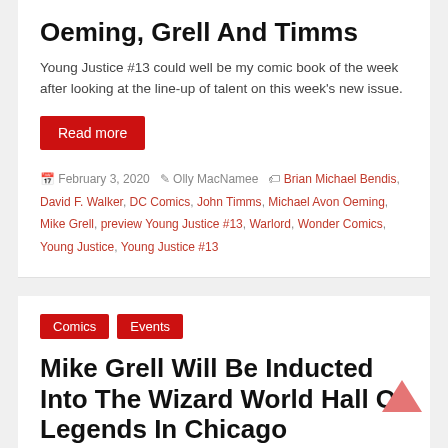Oeming, Grell And Timms
Young Justice #13 could well be my comic book of the week after looking at the line-up of talent on this week's new issue.
Read more
February 3, 2020  Olly MacNamee  Brian Michael Bendis, David F. Walker, DC Comics, John Timms, Michael Avon Oeming, Mike Grell, preview Young Justice #13, Warlord, Wonder Comics, Young Justice, Young Justice #13
Comics  Events
Mike Grell Will Be Inducted Into The Wizard World Hall Of Legends In Chicago